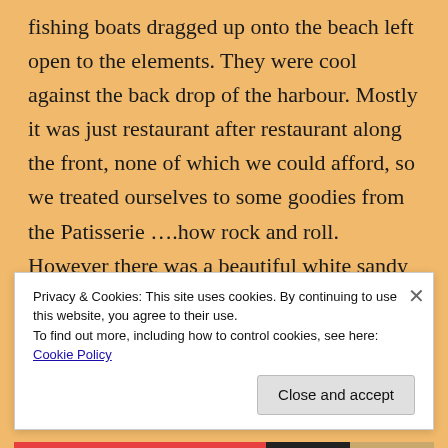fishing boats dragged up onto the beach left open to the elements. They were cool against the back drop of the harbour. Mostly it was just restaurant after restaurant along the front, none of which we could afford, so we treated ourselves to some goodies from the Patisserie ….how rock and roll. However there was a beautiful white sandy beach, which looked like paradise with crystal clear waters when the sea was calm. Scrump Dog Millionaire enjoyed a few
Privacy & Cookies: This site uses cookies. By continuing to use this website, you agree to their use.
To find out more, including how to control cookies, see here: Cookie Policy
Close and accept